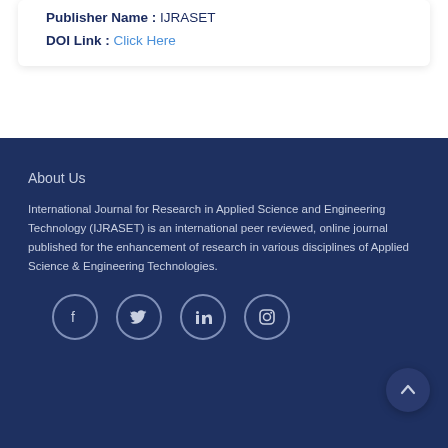Publisher Name : IJRASET
DOI Link : Click Here
About Us
International Journal for Research in Applied Science and Engineering Technology (IJRASET) is an international peer reviewed, online journal published for the enhancement of research in various disciplines of Applied Science & Engineering Technologies.
[Figure (other): Social media icons: Facebook, Twitter, LinkedIn, Instagram in circles]
[Figure (other): Scroll to top button arrow]